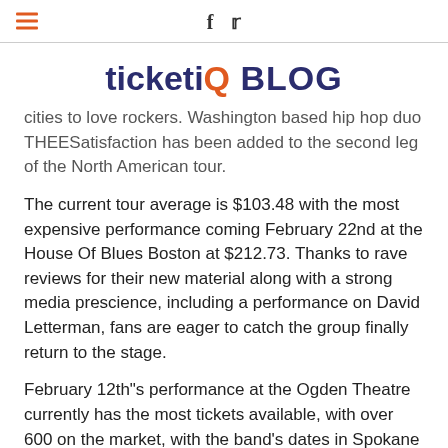TicketIQ BLOG
ticketIQ BLOG
cities to love rockers. Washington based hip hop duo THEESatisfaction has been added to the second leg of the North American tour.
The current tour average is $103.48 with the most expensive performance coming February 22nd at the House Of Blues Boston at $212.73. Thanks to rave reviews for their new material along with a strong media prescience, including a performance on David Letterman, fans are eager to catch the group finally return to the stage.
February 12th"s performance at the Ogden Theatre currently has the most tickets available, with over 600 on the market, with the band's dates in Spokane and New York City nearing that mark.